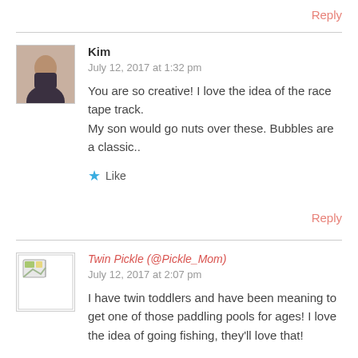Reply
[Figure (photo): Avatar photo of Kim, showing a young woman with dark hair against a dark background]
Kim
July 12, 2017 at 1:32 pm
You are so creative! I love the idea of the race tape track. My son would go nuts over these. Bubbles are a classic..
★ Like
Reply
[Figure (photo): Avatar/thumbnail image for Twin Pickle showing a landscape or outdoor photo]
Twin Pickle (@Pickle_Mom)
July 12, 2017 at 2:07 pm
I have twin toddlers and have been meaning to get one of those paddling pools for ages! I love the idea of going fishing, they'll love that!